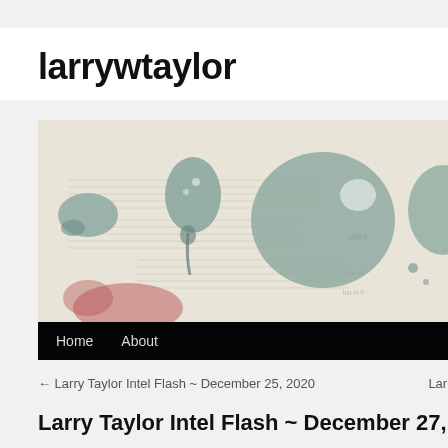larrywtaylor
[Figure (illustration): Watercolor-style header image showing abstract ink blots and musical score lines on a parchment/cream background, with dark teal and red blot shapes. Navigation bar at bottom with Home and About links.]
← Larry Taylor Intel Flash ~ December 25, 2020
Larry
Larry Taylor Intel Flash ~ December 27, 2